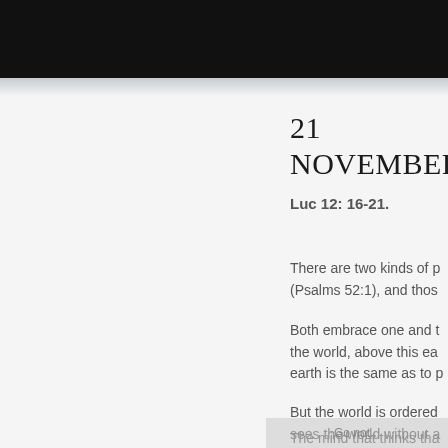21 NOVEMBER
Luc 12: 16-21.
There are two kinds of p... (Psalms 52:1), and thos...
Both embrace one and t... the world, above this ea... earth is the same as to p...
But the world is ordered... sees the world without a...
The mind that thinks tha...